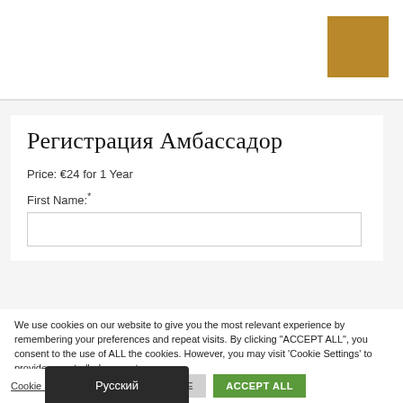[Figure (other): Gold/tan colored square in top-right corner of white header bar]
Регистрация Амбассадор
Price: €24 for 1 Year
First Name:*
We use cookies on our website to give you the most relevant experience by remembering your preferences and repeat visits. By clicking "ACCEPT ALL", you consent to the use of ALL the cookies. However, you may visit 'Cookie Settings' to provide a controlled consent.
Cookie Settings | ОТКЛЮЧИТЬ ВСЕ | ACCEPT ALL
Русский